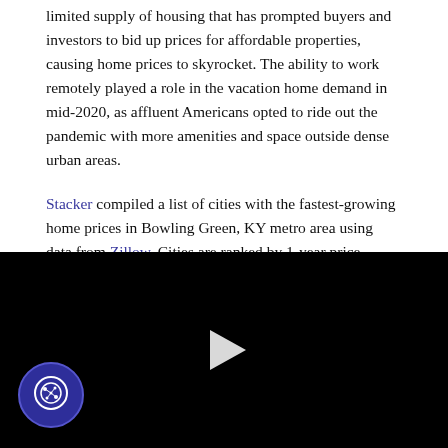limited supply of housing that has prompted buyers and investors to bid up prices for affordable properties, causing home prices to skyrocket. The ability to work remotely played a role in the vacation home demand in mid-2020, as affluent Americans opted to ride out the pandemic with more amenities and space outside dense urban areas.
Stacker compiled a list of cities with the fastest-growing home prices in Bowling Green, KY metro area using data from Zillow. Cities are ranked by 1-year price change as of July 2022. The typical home value in the United States increased over the last year by +19.8% to $354,165. All 15 cities and towns with data available were included in the list.
[Figure (other): Black video player with a white play button triangle in the center, and a cookie consent button (circular dark blue icon with cookie graphic) in the bottom-left corner.]